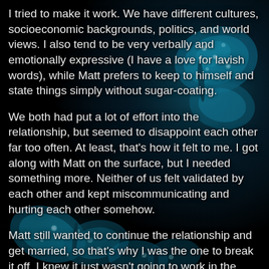[Figure (illustration): Dark background with blue glowing butterflies with water droplets on wings, serving as decorative background for text]
I tried to make it work. We have different cultures, socioeconomic backgrounds, politics, and world views. I also tend to be very verbally and emotionally expressive (I have a love for lavish words), while Matt prefers to keep to himself and state things simply without sugar-coating.
We both had put a lot of effort into the relationship, but seemed to disappoint each other far too often. At least, that's how it felt to me. I got along with Matt on the surface, but I needed something more. Neither of us felt validated by each other and kept miscommunicating and hurting each other somehow.
Matt still wanted to continue the relationship and get married, so that's why I was the one to break it off. I knew it just wasn't going to work in the long-term. Each of us deserve someone more compatible with who we are, and not to settle for less just so we won't be lonely.